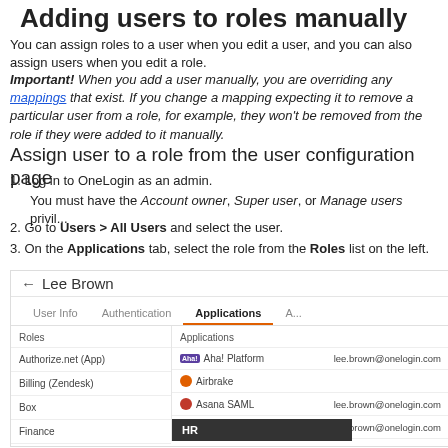Adding users to roles manually
You can assign roles to a user when you edit a user, and you can also assign users when you edit a role.
Important! When you add a user manually, you are overriding any mappings that exist. If you change a mapping expecting it to remove a particular user from a role, for example, they won't be removed from the role if they were added to it manually.
Assign user to a role from the user configuration page
1. Log in to OneLogin as an admin.
You must have the Account owner, Super user, or Manage users privilege.
2. Go to Users > All Users and select the user.
3. On the Applications tab, select the role from the Roles list on the left.
[Figure (screenshot): Screenshot of OneLogin user configuration page showing Lee Brown user profile with Applications tab selected. Left panel shows Roles list with Authorize.net (App), Billing (Zendesk), Box, Finance. Right panel shows Applications list with Aha! Platform (lee.brown@onelogin.com), Airbrake, Asana SAML (lee.brown@onelogin.com), and another item. A dark tooltip showing 'HR' is visible at the bottom.]